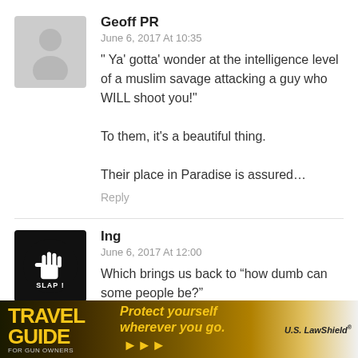Geoff PR
June 6, 2017 At 10:35
" Ya' gotta' wonder at the intelligence level of a muslim savage attacking a guy who WILL shoot you!"

To them, it's a beautiful thing.

Their place in Paradise is assured…
Reply
Ing
June 6, 2017 At 12:00
Which brings us back to “how dumb can some people be?”
[Figure (photo): Advertisement banner: Travel Guide for Gun Owners - Protect yourself wherever you go. U.S. LawShield]